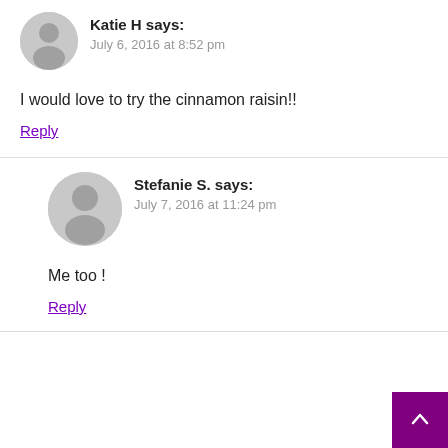Katie H says:
July 6, 2016 at 8:52 pm
I would love to try the cinnamon raisin!!
Reply
Stefanie S. says:
July 7, 2016 at 11:24 pm
Me too !
Reply